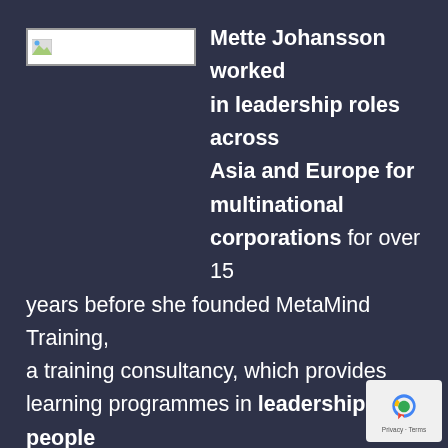[Figure (logo): Logo placeholder image in top-left, white rectangle with small broken image icon]
Mette Johansson worked in leadership roles across Asia and Europe for multinational corporations for over 15 years before she founded MetaMind Training, a training consultancy, which provides learning programmes in leadership, people and communication skills. Learning programmes frequently include modules on Authentic Leadership, Executive Presence and Intercultural Intelligence. Clients include large MNCs such as Citibank, GS and Ikea, as well as mid-sized and local
[Figure (logo): reCAPTCHA badge in bottom-right corner with Privacy and Terms text]